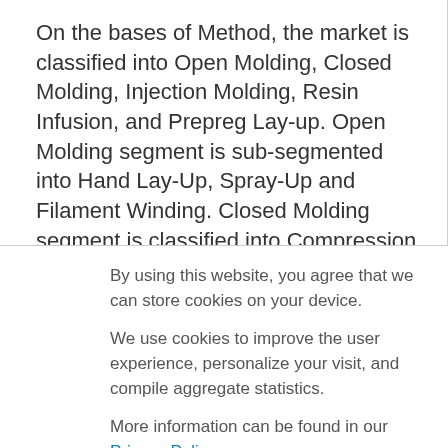On the bases of Method, the market is classified into Open Molding, Closed Molding, Injection Molding, Resin Infusion, and Prepreg Lay-up. Open Molding segment is sub-segmented into Hand Lay-Up, Spray-Up and Filament Winding. Closed Molding segment is classified into Compression molding, Pultrusion, Reinforced Reaction Injection
By using this website, you agree that we can store cookies on your device.
We use cookies to improve the user experience, personalize your visit, and compile aggregate statistics.
More information can be found in our Privacy Policy .
Accept
Decline